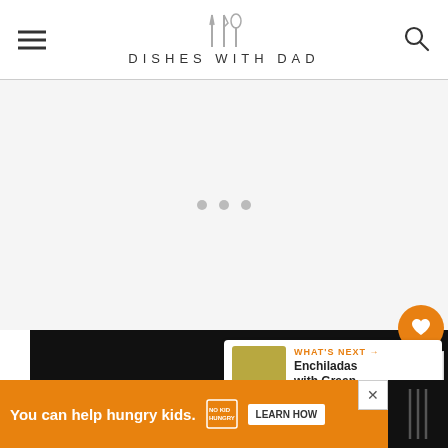DISHES WITH DAD
[Figure (screenshot): Advertisement placeholder area with three grey dots centered on light grey background]
[Figure (infographic): Social sidebar with heart/save button (orange, count: 3) and share button]
[Figure (screenshot): Dark video content area]
[Figure (screenshot): What's Next panel showing Enchiladas with Green... with thumbnail]
[Figure (screenshot): Orange advertisement banner: You can help hungry kids. NO KID HUNGRY. LEARN HOW]